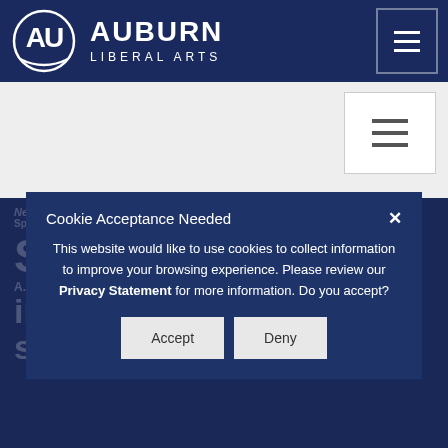AUBURN LIBERAL ARTS
[Figure (screenshot): Auburn Liberal Arts website header with logo, site title, and hamburger menu button]
[Figure (screenshot): Secondary navigation bar with hamburger menu button on right]
News / Article
Spanish International Business track series helps...
Cookie Acceptance Needed
This website would like to use cookies to collect information to improve your browsing experience. Please review our Privacy Statement for more information. Do you accept?
Accept   Deny
Span...
international race
student turns an